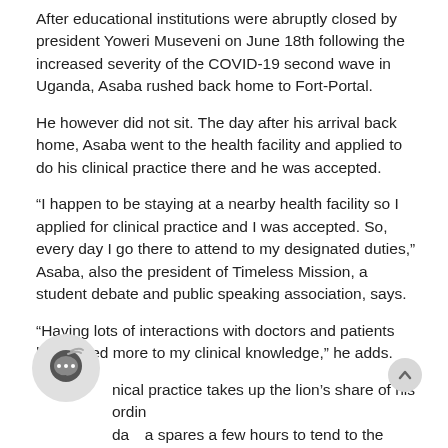After educational institutions were abruptly closed by president Yoweri Museveni on June 18th following the increased severity of the COVID-19 second wave in Uganda, Asaba rushed back home to Fort-Portal.
He however did not sit. The day after his arrival back home, Asaba went to the health facility and applied to do his clinical practice there and he was accepted.
“I happen to be staying at a nearby health facility so I applied for clinical practice and I was accepted. So, every day I go there to attend to my designated duties,” Asaba, also the president of Timeless Mission, a student debate and public speaking association, says.
“Having lots of interactions with doctors and patients has added more to my clinical knowledge,” he adds.
The clinical practice takes up the lion’s share of his ordinary day. Asaba spares a few hours to tend to the other aspects of his life.